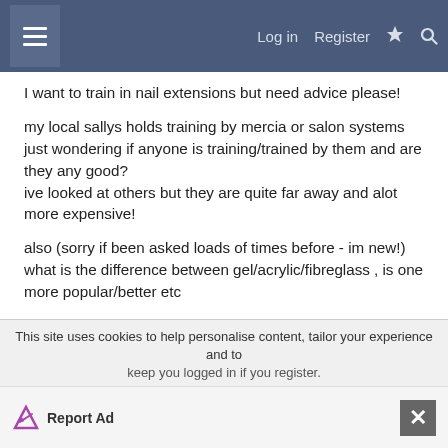Log in  Register
I want to train in nail extensions but need advice please!

my local sallys holds training by mercia or salon systems just wondering if anyone is training/trained by them and are they any good?
ive looked at others but they are quite far away and alot more expensive!

also (sorry if been asked loads of times before - im new!) what is the difference between gel/acrylic/fibreglass , is one more popular/better etc

thanks
This site uses cookies to help personalise content, tailor your experience and to keep you logged in if you register.
Report Ad